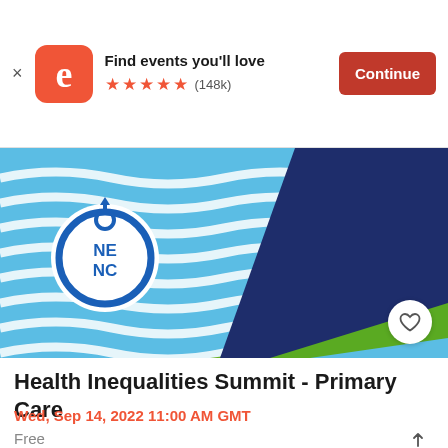Find events you'll love ★★★★★ (148k) Continue
[Figure (illustration): NENC Health event banner with wavy blue/white pattern and blue/green diagonal stripes, NENC logo circle with water drop arrow]
Health Inequalities Summit - Primary Care
Wed, Sep 14, 2022 11:00 AM GMT
Free